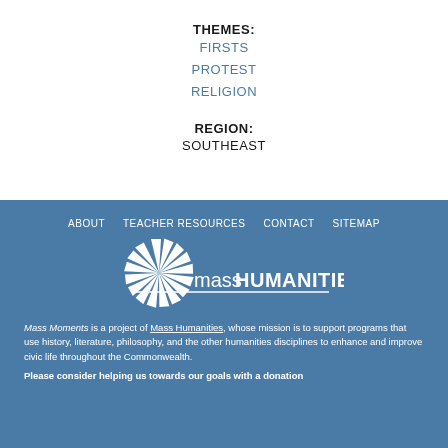THEMES:
FIRSTS
PROTEST
RELIGION
REGION:
SOUTHEAST
ABOUT   TEACHER RESOURCES   CONTACT   SITEMAP
[Figure (logo): Mass Humanities logo with radiating white sunburst/pinwheel graphic and text 'massHUMANITIES' on a blue background]
Mass Moments is a project of Mass Humanities, whose mission is to support programs that use history, literature, philosophy, and the other humanities disciplines to enhance and improve civic life throughout the Commonwealth.
Please consider helping us towards our goals with a donation